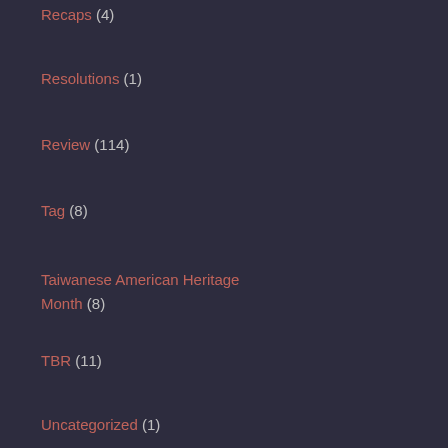Recaps (4)
Resolutions (1)
Review (114)
Tag (8)
Taiwanese American Heritage Month (8)
TBR (11)
Uncategorized (1)
Updates (1)
Meta
Register
Log in
Entries feed